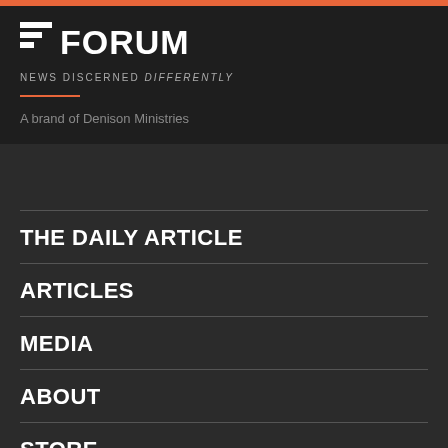DENISON FORUM
NEWS DISCERNED DIFFERENTLY
A brand of Denison Ministries
THE DAILY ARTICLE
ARTICLES
MEDIA
ABOUT
STORE